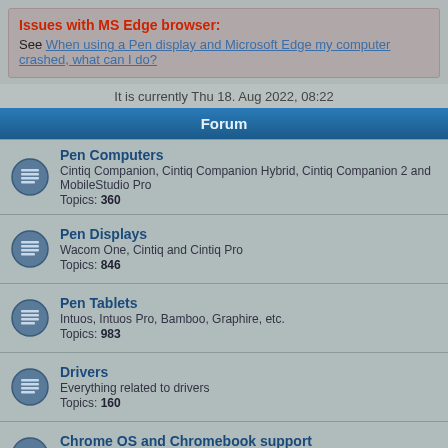Issues with MS Edge browser: See When using a Pen display and Microsoft Edge my computer crashed, what can I do?
It is currently Thu 18. Aug 2022, 08:22
Forum
Pen Computers
Cintiq Companion, Cintiq Companion Hybrid, Cintiq Companion 2 and MobileStudio Pro
Topics: 360
Pen Displays
Wacom One, Cintiq and Cintiq Pro
Topics: 846
Pen Tablets
Intuos, Intuos Pro, Bamboo, Graphire, etc.
Topics: 983
Drivers
Everything related to drivers
Topics: 160
Chrome OS and Chromebook support
Everything related with Chrome OS and Chromebook support
Topics: 3
Smartpads
Bamboo Spark, Bamboo Slate, Bamboo Folio
Topics: 55
Stylus
Bamboo Stylus (all flavors), Fineline, Intuos Creative Stylus,
Topics: 46